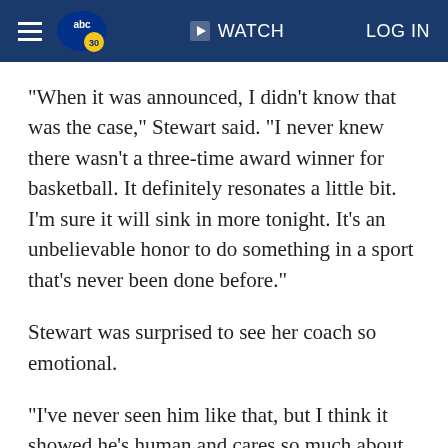abc30 WATCH LOG IN
"When it was announced, I didn't know that was the case," Stewart said. "I never knew there wasn't a three-time award winner for basketball. It definitely resonates a little bit. I'm sure it will sink in more tonight. It's an unbelievable honor to do something in a sport that's never been done before."
Stewart was surprised to see her coach so emotional.
"I've never seen him like that, but I think it showed he's human and cares so much about this team and this group," she said.
Auriemma has never been one to shy away from